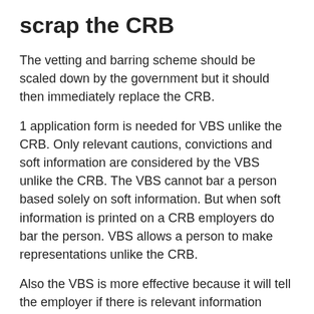scrap the CRB
The vetting and barring scheme should be scaled down by the government but it should then immediately replace the CRB.
1 application form is needed for VBS unlike the CRB. Only relevant cautions, convictions and soft information are considered by the VBS unlike the CRB. The VBS cannot bar a person based solely on soft information. But when soft information is printed on a CRB employers do bar the person. VBS allows a person to make representations unlike the CRB.
Also the VBS is more effective because it will tell the employer if there is relevant information recently acquired.
Why is this idea important?
The vetting and barring scheme should be scaled down by